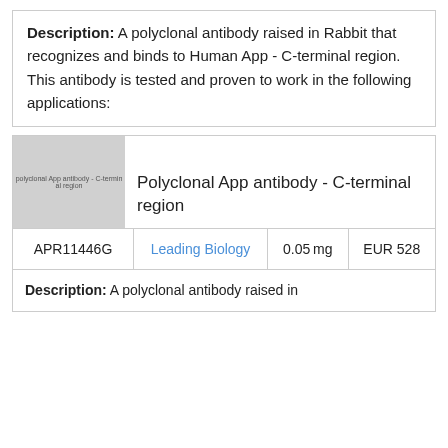Description: A polyclonal antibody raised in Rabbit that recognizes and binds to Human App - C-terminal region. This antibody is tested and proven to work in the following applications:
[Figure (photo): Placeholder image for Polyclonal App antibody - C-terminal region product]
Polyclonal App antibody - C-terminal region
| APR11446G | Leading Biology | 0.05mg | EUR 528 |
| --- | --- | --- | --- |
Description: A polyclonal antibody raised in